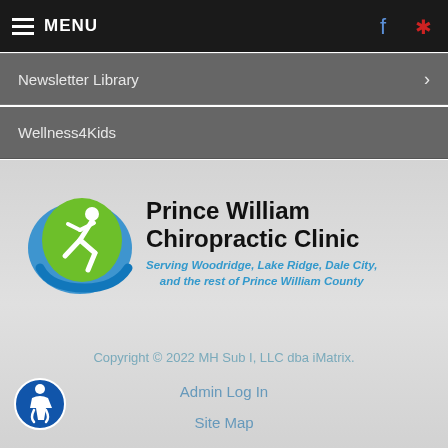MENU
Newsletter Library
Wellness4Kids
[Figure (logo): Prince William Chiropractic Clinic logo — green and blue oval with white running figure, beside bold text 'Prince William Chiropractic Clinic' and italic blue subtitle 'Serving Woodridge, Lake Ridge, Dale City, and the rest of Prince William County']
Copyright © 2022 MH Sub I, LLC dba iMatrix.
Admin Log In
Site Map